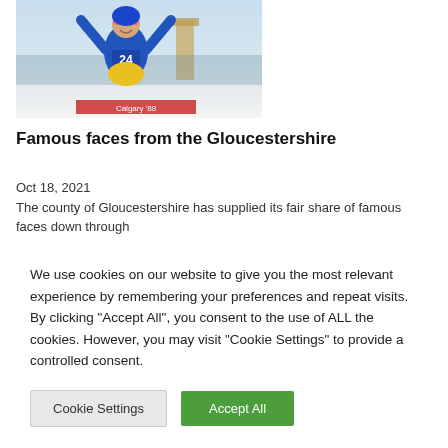[Figure (photo): A ski jumper wearing number 24 in a blue and yellow suit with arms raised in celebration, wearing pink goggles, with a winter sports background.]
Famous faces from the Gloucestershire
Oct 18, 2021
The county of Gloucestershire has supplied its fair share of famous faces down through
We use cookies on our website to give you the most relevant experience by remembering your preferences and repeat visits. By clicking "Accept All", you consent to the use of ALL the cookies. However, you may visit "Cookie Settings" to provide a controlled consent.